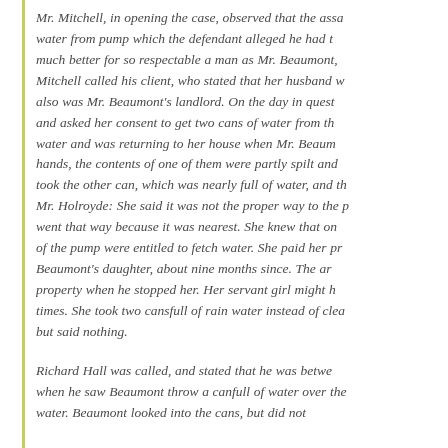Mr. Mitchell, in opening the case, observed that the assa water from pump which the defendant alleged he had t much better for so respectable a man as Mr. Beaumont, Mitchell called his client, who stated that her husband w also was Mr. Beaumont's landlord. On the day in quest and asked her consent to get two cans of water from th water and was returning to her house when Mr. Beaum hands, the contents of one of them were partly spilt and took the other can, which was nearly full of water, and th Mr. Holroyde: She said it was not the proper way to the p went that way because it was nearest. She knew that on of the pump were entitled to fetch water. She paid her pr Beaumont's daughter, about nine months since. The ar property when he stopped her. Her servant girl might h times. She took two cansfull of rain water instead of clea but said nothing.
Richard Hall was called, and stated that he was betwe when he saw Beaumont throw a canfull of water over the water. Beaumont looked into the cans, but did not